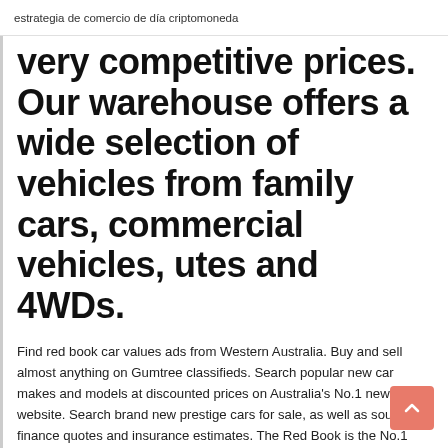estrategia de comercio de día criptomoneda
very competitive prices. Our warehouse offers a wide selection of vehicles from family cars, commercial vehicles, utes and 4WDs.
Find red book car values ads from Western Australia. Buy and sell almost anything on Gumtree classifieds. Search popular new car makes and models at discounted prices on Australia's No.1 new car website. Search brand new prestige cars for sale, as well as source finance quotes and insurance estimates. The Red Book is the No.1 provider of vehicle identification and pricing information throughout Australasia.
www.redbook.com.au | Find new and used Cars, Vans & Utes